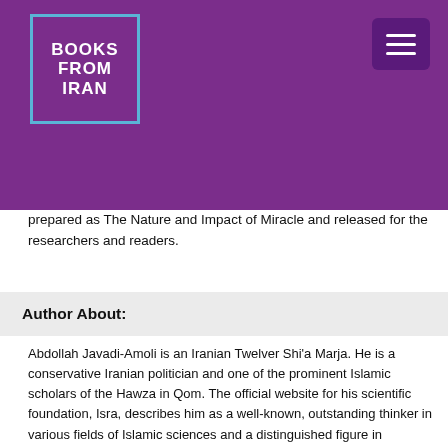[Figure (logo): Books From Iran logo — white text on purple background with light blue border]
prepared as The Nature and Impact of Miracle and released for the researchers and readers.
Author About:
Abdollah Javadi-Amoli is an Iranian Twelver Shi'a Marja. He is a conservative Iranian politician and one of the prominent Islamic scholars of the Hawza in Qom. The official website for his scientific foundation, Isra, describes him as a well-known, outstanding thinker in various fields of Islamic sciences and a distinguished figure in exegesis, jurisprudence, philosophy and mysticism. It is further states that his ideas and views have been reinforcing the Islamic Republic of Iran since the 1979 Islamic Revolution, and that "his strategic and enlightening guidance" has been "extremely constructive" during the past three decades.